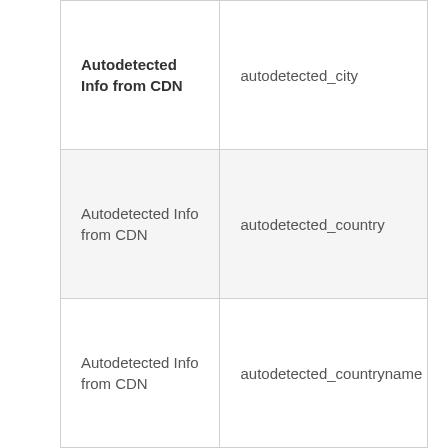| Autodetected Info from CDN | autodetected_city |
| Autodetected Info from CDN | autodetected_country |
| Autodetected Info from CDN | autodetected_countryname |